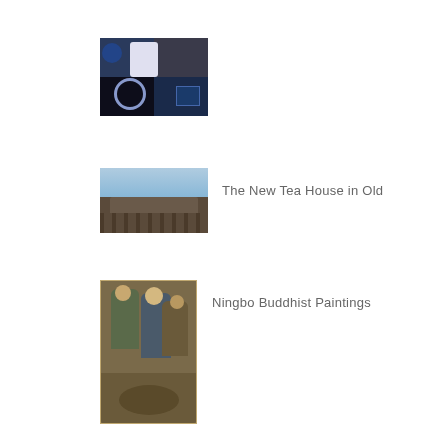[Figure (photo): A dark collage/mosaic image with blue and purple tones, appearing to show multiple panels including what looks like people and objects against a dark background]
[Figure (photo): A photograph of a traditional Chinese rooftop or tea house building with tiled roof against a blue sky]
The New Tea House in Old
[Figure (photo): A tall portrait-format painting showing Buddhist figures in earth tones of brown and green, Ningbo Buddhist style]
Ningbo Buddhist Paintings